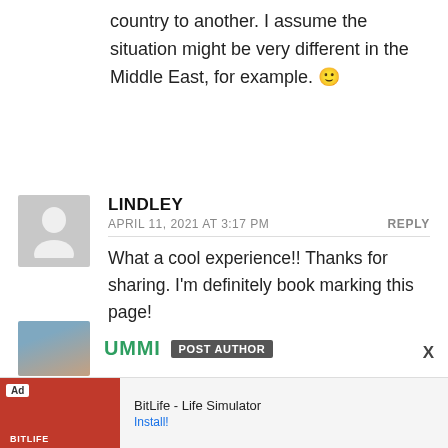country to another. I assume the situation might be very different in the Middle East, for example. 🙂
LINDLEY
APRIL 11, 2021 AT 3:17 PM  REPLY
What a cool experience!! Thanks for sharing. I'm definitely book marking this page!
UMMI POST AUTHOR
[Figure (screenshot): BitLife - Life Simulator advertisement banner at the bottom of the page]